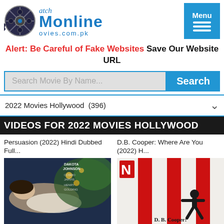[Figure (logo): WatchMoviesOnline.com.pk logo with film reel icon and blue text]
Alert: Be Careful of Fake Websites Save Our Website URL
Search Movie By Name... Search
2022 Movies Hollywood  (396)
VIDEOS FOR 2022 MOVIES HOLLYWOOD
Persuasion (2022) Hindi Dubbed Full...
[Figure (photo): Persuasion 2022 movie poster/thumbnail]
D.B. Cooper: Where Are You (2022) H...
[Figure (photo): D.B. Cooper: Where Are You 2022 Netflix movie poster thumbnail]